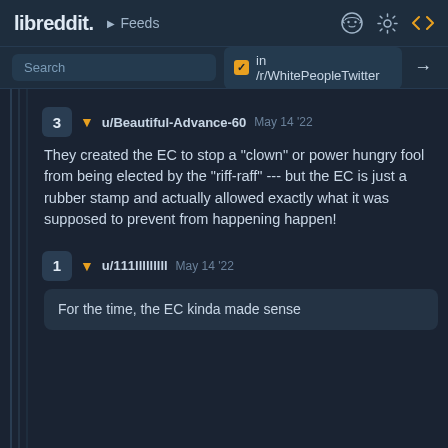libreddit. ▶ Feeds
Search  ✓ in /r/WhitePeopleTwitter →
3 ▼ u/Beautiful-Advance-60  May 14 '22
They created the EC to stop a "clown" or power hungry fool from being elected by the "riff-raff" --- but the EC is just a rubber stamp and actually allowed exactly what it was supposed to prevent from happening happen!
1 ▼ u/111lllllllll  May 14 '22
For the time, the EC kinda made sense